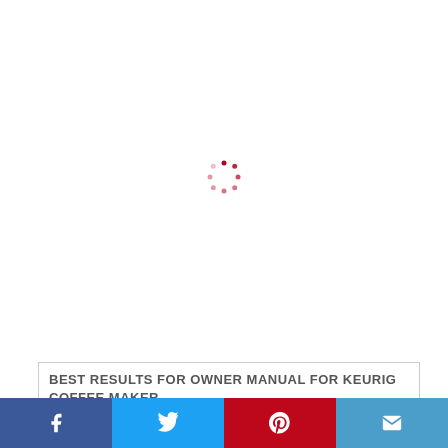[Figure (other): Loading spinner — circular arrangement of dark red dots on white background]
BEST RESULTS FOR OWNER MANUAL FOR KEURIG COFFEE MAKER
[Figure (other): Social sharing bar with Facebook, Twitter, Pinterest, and Email buttons]